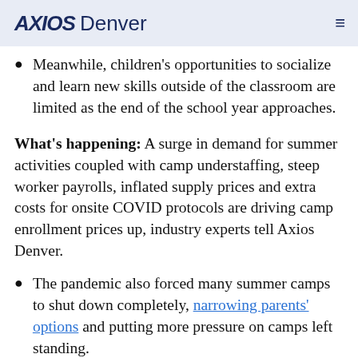AXIOS Denver
Meanwhile, children's opportunities to socialize and learn new skills outside of the classroom are limited as the end of the school year approaches.
What's happening: A surge in demand for summer activities coupled with camp understaffing, steep worker payrolls, inflated supply prices and extra costs for onsite COVID protocols are driving camp enrollment prices up, industry experts tell Axios Denver.
The pandemic also forced many summer camps to shut down completely, narrowing parents' options and putting more pressure on camps left standing.